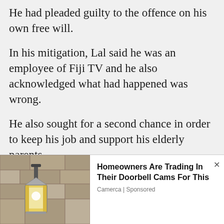He had pleaded guilty to the offence on his own free will.
In his mitigation, Lal said he was an employee of Fiji TV and he also acknowledged what had happened was wrong.
He also sought for a second chance in order to keep his job and support his elderly parents.
Magistrate Prakash fined the accused of $300 to be paid in 30 days.
She also ordered the accused that if in default of the payment, 30 days...
[Figure (photo): Photo of a wall-mounted outdoor light fixture/lantern on a stone or concrete wall]
Homeowners Are Trading In Their Doorbell Cams For This
Camerca | Sponsored